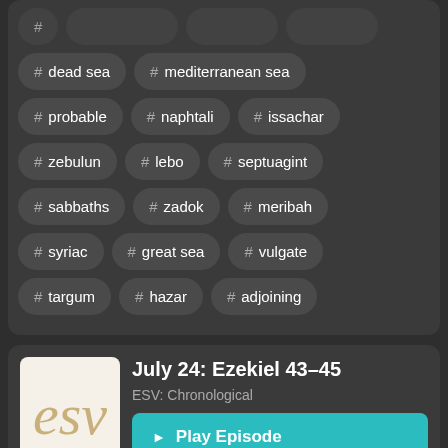# dead sea
# mediterranean sea
# probable
# naphtali
# issachar
# zebulun
# lebo
# septuagint
# sabbaths
# zadok
# meribah
# syriac
# great sea
# vulgate
# targum
# hazar
# adjoining
July 24: Ezekiel 43–45
ESV: Chronological
Play Episode